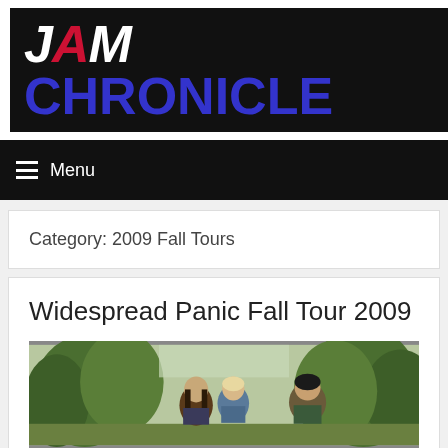[Figure (logo): JAM CHRONICLE logo — JAM in red/white italic on black background, CHRONICLE in blue bold]
Menu
Category: 2009 Fall Tours
Widespread Panic Fall Tour 2009
[Figure (photo): Band photo of Widespread Panic members standing outdoors among trees]